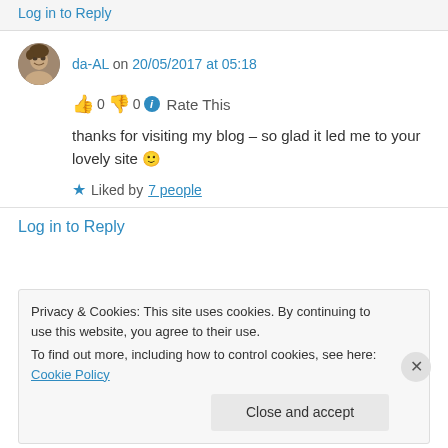Log in to Reply
da-AL on 20/05/2017 at 05:18
👍 0 👎 0 ℹ Rate This
thanks for visiting my blog – so glad it led me to your lovely site 🙂
★ Liked by 7 people
Log in to Reply
Privacy & Cookies: This site uses cookies. By continuing to use this website, you agree to their use.
To find out more, including how to control cookies, see here: Cookie Policy
Close and accept